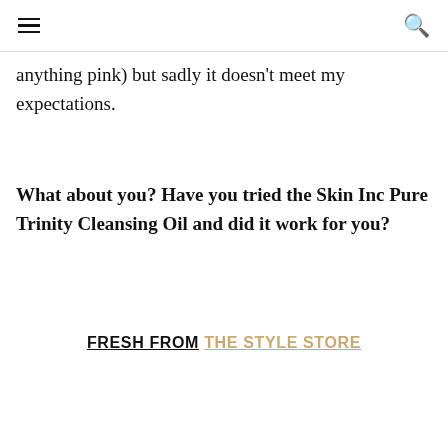≡  🔍
anything pink) but sadly it doesn't meet my expectations.
What about you? Have you tried the Skin Inc Pure Trinity Cleansing Oil and did it work for you?
FRESH FROM THE STYLE STORE